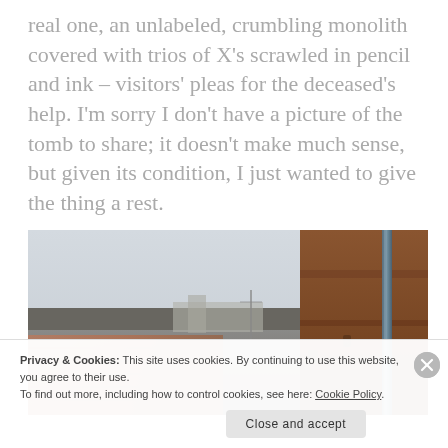real one, an unlabeled, crumbling monolith covered with trios of X's scrawled in pencil and ink – visitors' pleas for the deceased's help. I'm sorry I don't have a picture of the tomb to share; it doesn't make much sense, but given its condition, I just wanted to give the thing a rest.
[Figure (photo): Outdoor photograph showing stone/brick walls of a cemetery or old building, with a rusted brown structure on the right side, a metal pipe, grey sky, and distant buildings in the background.]
Privacy & Cookies: This site uses cookies. By continuing to use this website, you agree to their use.
To find out more, including how to control cookies, see here: Cookie Policy